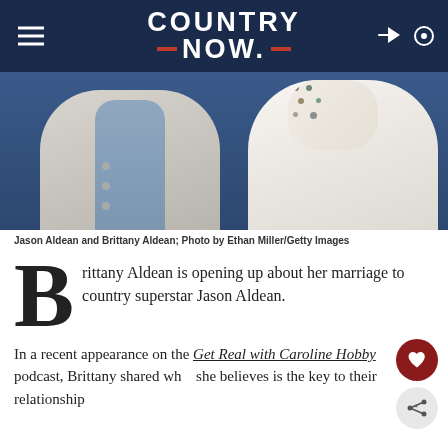COUNTRY NOW
[Figure (photo): Photo of Jason Aldean and Brittany Aldean, cropped to show torsos; Jason in a light grey/white blazer, Brittany in white with patterned collar]
Jason Aldean and Brittany Aldean; Photo by Ethan Miller/Getty Images
Brittany Aldean is opening up about her marriage to country superstar Jason Aldean.
In a recent appearance on the Get Real with Caroline Hobby podcast, Brittany shared what she believes is the key to their relationship